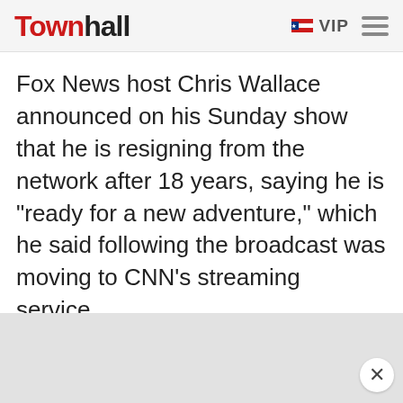Townhall
Fox News host Chris Wallace announced on his Sunday show that he is resigning from the network after 18 years, saying he is "ready for a new adventure," which he said following the broadcast was moving to CNN's streaming service.